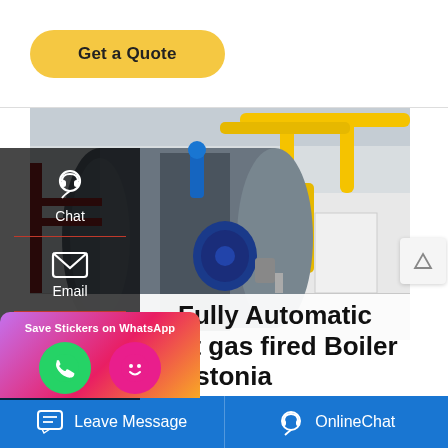[Figure (other): Get a Quote button - yellow/gold rounded rectangle button]
[Figure (photo): Industrial gas-fired boiler inside a factory building with yellow gas pipes and blue motor, side panel with Chat, Email, Contact buttons visible]
Fully Automatic 6t gas fired Boiler Estonia
[Figure (infographic): WhatsApp save stickers popup with phone and emoji icons on gradient pink/purple background]
[Figure (other): Bottom blue bar with Leave Message and OnlineChat buttons]